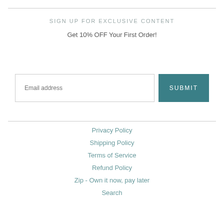SIGN UP FOR EXCLUSIVE CONTENT
Get 10% OFF Your First Order!
[Figure (other): Email address input field with placeholder text 'Email address' and a teal SUBMIT button]
Privacy Policy
Shipping Policy
Terms of Service
Refund Policy
Zip - Own it now, pay later
Search